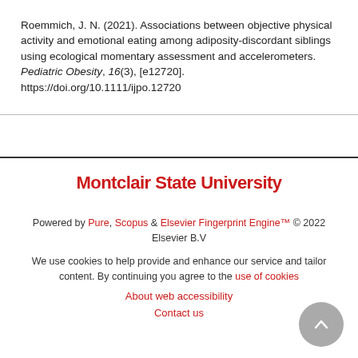Roemmich, J. N. (2021). Associations between objective physical activity and emotional eating among adiposity-discordant siblings using ecological momentary assessment and accelerometers. Pediatric Obesity, 16(3), [e12720]. https://doi.org/10.1111/ijpo.12720
[Figure (logo): Montclair State University logo in red bold text]
Powered by Pure, Scopus & Elsevier Fingerprint Engine™ © 2022 Elsevier B.V
We use cookies to help provide and enhance our service and tailor content. By continuing you agree to the use of cookies
About web accessibility
Contact us